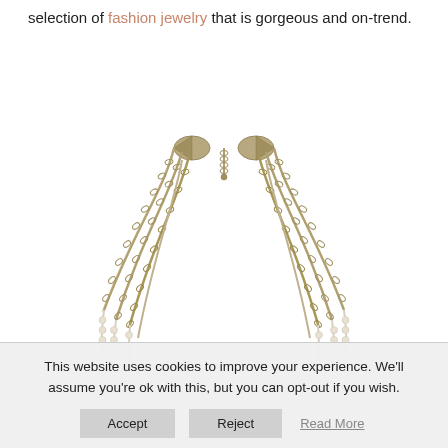… they have a huge selection of fashion jewelry that is gorgeous and on-trend.
[Figure (photo): A multi-strand silver chain necklace with pearl strands at the bottom, photographed on a white background. The necklace has a lobster claw clasp with an extender chain at the top center.]
This website uses cookies to improve your experience. We'll assume you're ok with this, but you can opt-out if you wish.
Accept | Reject | Read More